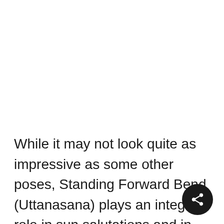While it may not look quite as impressive as some other poses, Standing Forward Bend (Uttanasana) plays an integral role in sun salutations and in bringing balance to a vigorous, flowing practice. Standing Forward Bend is great at the beginning of class as a